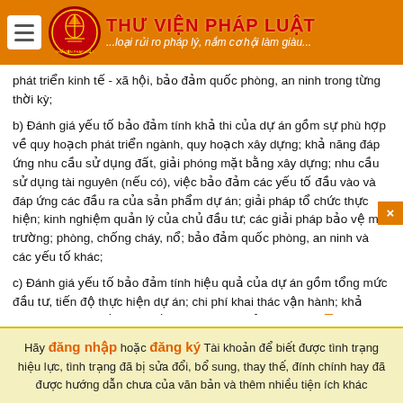THƯ VIỆN PHÁP LUẬT ...loại rủi ro pháp lý, nắm cơ hội làm giàu...
phát triển kinh tế - xã hội, bảo đảm quốc phòng, an ninh trong từng thời kỳ;
b) Đánh giá yếu tố bảo đảm tính khả thi của dự án gồm sự phù hợp về quy hoạch phát triển ngành, quy hoạch xây dựng; khả năng đáp ứng nhu cầu sử dụng đất, giải phóng mặt bằng xây dựng; nhu cầu sử dụng tài nguyên (nếu có), việc bảo đảm các yếu tố đầu vào và đáp ứng các đầu ra của sản phẩm dự án; giải pháp tổ chức thực hiện; kinh nghiệm quản lý của chủ đầu tư; các giải pháp bảo vệ môi trường; phòng, chống cháy, nổ; bảo đảm quốc phòng, an ninh và các yếu tố khác;
c) Đánh giá yếu tố bảo đảm tính hiệu quả của dự án gồm tổng mức đầu tư, tiến độ thực hiện dự án; chi phí khai thác vận hành; khả năng huy động vốn theo tiến độ, phân tích rủi ro, hiệu quả tài chính và hiệu quả kinh tế - xã hội của dự án.
Hãy đăng nhập hoặc đăng ký Tài khoản để biết được tình trạng hiệu lực, tình trạng đã bị sửa đổi, bổ sung, thay thế, đính chính hay đã được hướng dẫn chưa của văn bản và thêm nhiều tiện ích khác